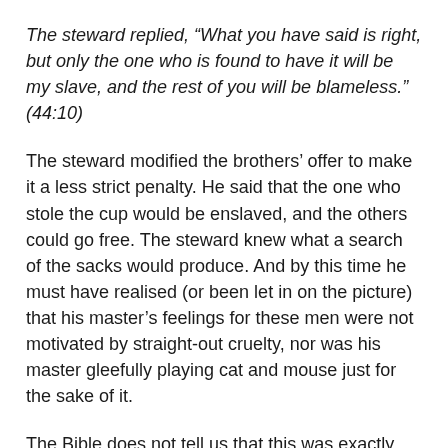The steward replied, “What you have said is right, but only the one who is found to have it will be my slave, and the rest of you will be blameless.” (44:10)
The steward modified the brothers’ offer to make it a less strict penalty. He said that the one who stole the cup would be enslaved, and the others could go free. The steward knew what a search of the sacks would produce. And by this time he must have realised (or been let in on the picture) that his master’s feelings for these men were not motivated by straight-out cruelty, nor was his master gleefully playing cat and mouse just for the sake of it.
The Bible does not tell us that this was exactly the moral dilemma which Joseph had instructed the steward to place before the brothers. Perhaps Joseph had given these guidelines, or perhaps he left it for providence to sort out